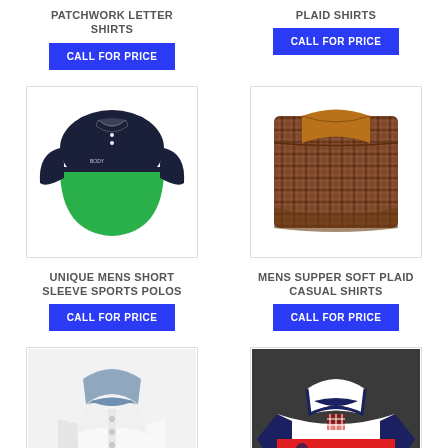PATCHWORK LETTER SHIRTS
CALL FOR PRICE
PLAID SHIRTS
CALL FOR PRICE
[Figure (photo): Navy and green color-block men's polo shirt, short sleeve, with collar and two buttons]
[Figure (photo): Folded brown/tan plaid casual shirt with brown inner collar lining]
UNIQUE MENS SHORT SLEEVE SPORTS POLOS
CALL FOR PRICE
MENS SUPPER SOFT PLAID CASUAL SHIRTS
CALL FOR PRICE
[Figure (photo): White men's dress shirt with blue/grey collar, shown folded/displayed]
[Figure (photo): Red, white and navy striped rugby-style polo shirt on dark background]